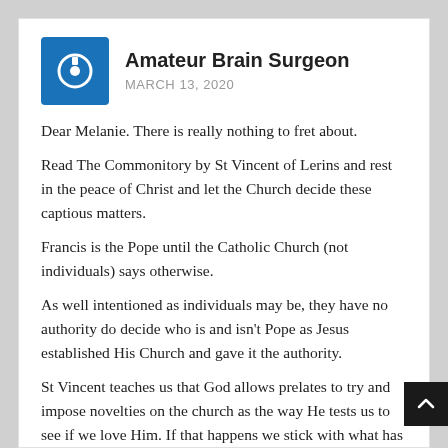Amateur Brain Surgeon
MARCH 13, 2020
Dear Melanie. There is really nothing to fret about.
Read The Commonitory by St Vincent of Lerins and rest in the peace of Christ and let the Church decide these captious matters.
Francis is the Pope until the Catholic Church (not individuals) says otherwise.
As well intentioned as individuals may be, they have no authority do decide who is and isn't Pope as Jesus established His Church and gave it the authority.
St Vincent teaches us that God allows prelates to try and impose novelties on the church as the way He tests us to see if we love Him. If that happens we stick with what has always been believed and taught – Tradition.
As love is an action, how does it show love for us as individuals to presume to have the authority to decide